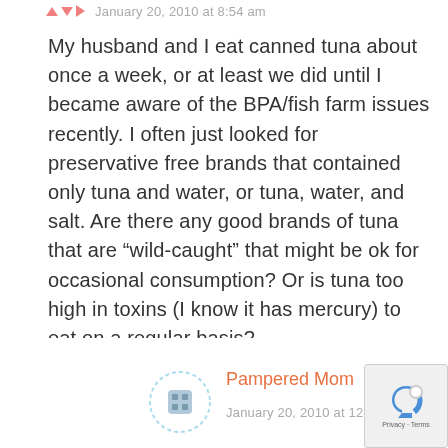January 20, 2010 at 8:54 am
My husband and I eat canned tuna about once a week, or at least we did until I became aware of the BPA/fish farm issues recently. I often just looked for preservative free brands that contained only tuna and water, or tuna, water, and salt. Are there any good brands of tuna that are “wild-caught” that might be ok for occasional consumption? Or is tuna too high in toxins (I know it has mercury) to eat on a regular basis?
REPLY
Pampered Mom
January 20, 2010 at 12:50 pm